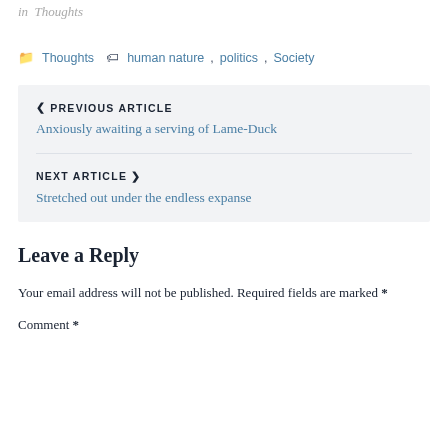in Thoughts
Thoughts  human nature, politics, Society
PREVIOUS ARTICLE
Anxiously awaiting a serving of Lame-Duck
NEXT ARTICLE
Stretched out under the endless expanse
Leave a Reply
Your email address will not be published. Required fields are marked *
Comment *